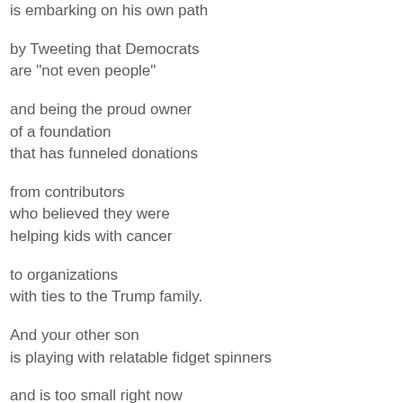is embarking on his own path
by Tweeting that Democrats
are "not even people"
and being the proud owner
of a foundation
that has funneled donations
from contributors
who believed they were
helping kids with cancer
to organizations
with ties to the Trump family.
And your other son
is playing with relatable fidget spinners
and is too small right now
to do much of anything
but worry about Kathy Griffin